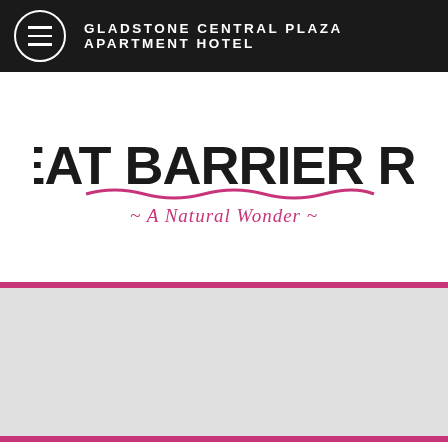GLADSTONE CENTRAL PLAZA APARTMENT HOTEL
[Figure (logo): Great Barrier Reef - A Natural Wonder logo. Large bold black text 'GREAT BARRIER REEF' with pink italic subtitle '~ A Natural Wonder ~' and a pink wave/underline beneath the main text.]
[Figure (photo): Gray placeholder image area bordered by pink horizontal bars at top and bottom.]